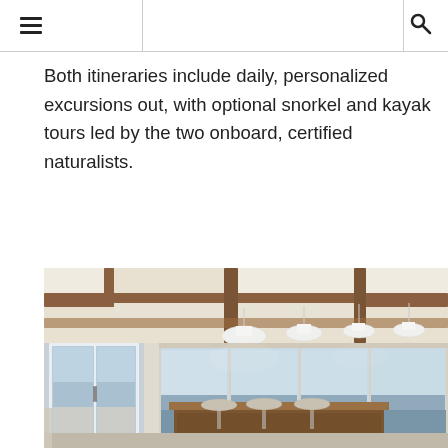Both itineraries include daily, personalized excursions out, with optional snorkel and kayak tours led by the two onboard, certified naturalists.
[Figure (photo): Interior of a luxury cruise ship lounge/dining area featuring wooden coffered ceiling beams, pendant light fixtures, a bar with bar stools, large windows overlooking the ocean, and sliding glass doors to an outdoor deck area.]